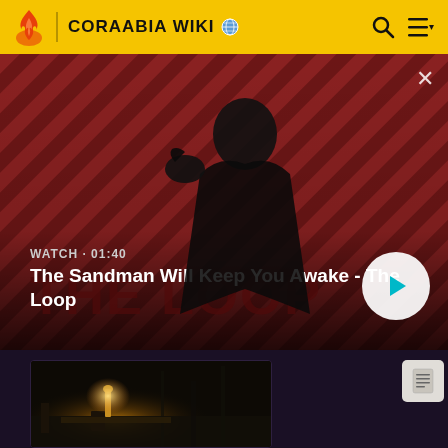CORAABIA WIKI
[Figure (screenshot): Video banner showing a dark-cloaked figure with a raven on his shoulder against a red diagonal stripe background. Text overlay reads WATCH · 01:40 and The Sandman Will Keep You Awake - The Loop. A white circular play button is on the right. An X close button is top right.]
[Figure (photo): Dark atmospheric thumbnail image showing a dimly lit interior scene with a glowing lantern or light source on a wooden surface]